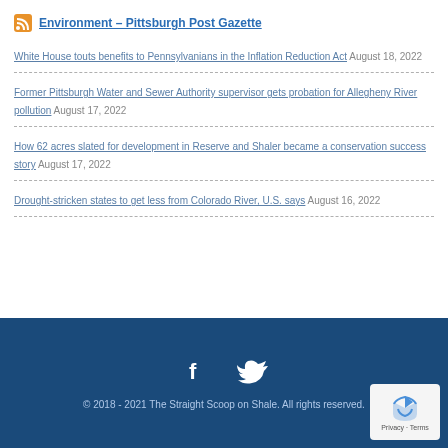Environment – Pittsburgh Post Gazette
White House touts benefits to Pennsylvanians in the Inflation Reduction Act August 18, 2022
Former Pittsburgh Water and Sewer Authority supervisor gets probation for Allegheny River pollution August 17, 2022
How 62 acres slated for development in Reserve and Shaler became a conservation success story August 17, 2022
Drought-stricken states to get less from Colorado River, U.S. says August 16, 2022
© 2018 - 2021 The Straight Scoop on Shale. All rights reserved.